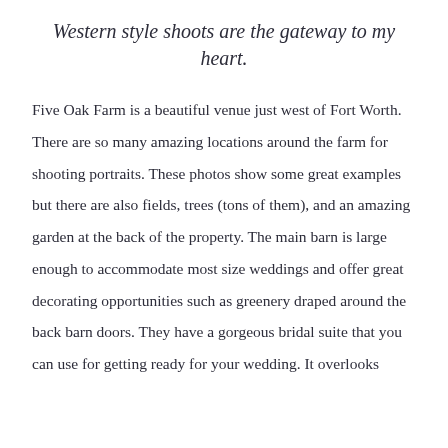Western style shoots are the gateway to my heart.
Five Oak Farm is a beautiful venue just west of Fort Worth. There are so many amazing locations around the farm for shooting portraits. These photos show some great examples but there are also fields, trees (tons of them), and an amazing garden at the back of the property. The main barn is large enough to accommodate most size weddings and offer great decorating opportunities such as greenery draped around the back barn doors. They have a gorgeous bridal suite that you can use for getting ready for your wedding. It overlooks